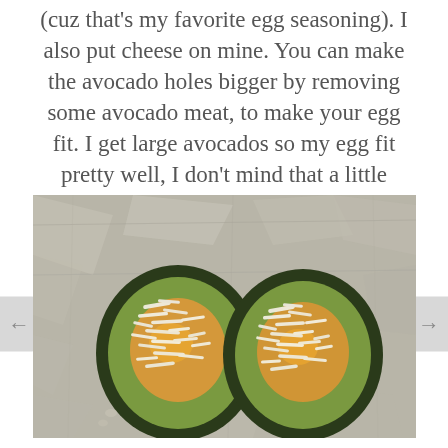(cuz that's my favorite egg seasoning). I also put cheese on mine. You can make the avocado holes bigger by removing some avocado meat, to make your egg fit. I get large avocados so my egg fit pretty well, I don't mind that a little spills over.
[Figure (photo): Two avocado halves on aluminum foil, each filled with a cooked egg and topped with shredded cheese.]